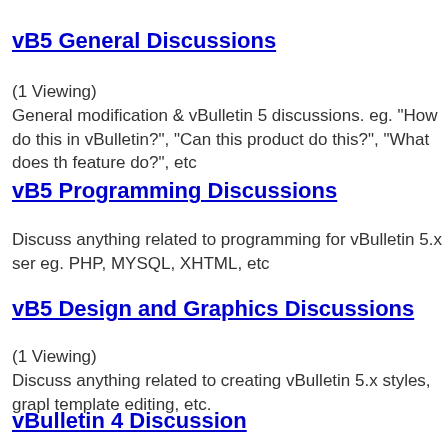vB5 General Discussions
(1 Viewing)
General modification & vBulletin 5 discussions. eg. "How do this in vBulletin?", "Can this product do this?", "What does th feature do?", etc
vB5 Programming Discussions
Discuss anything related to programming for vBulletin 5.x ser eg. PHP, MYSQL, XHTML, etc
vB5 Design and Graphics Discussions
(1 Viewing)
Discuss anything related to creating vBulletin 5.x styles, grapl template editing, etc.
vBulletin 4 Discussion